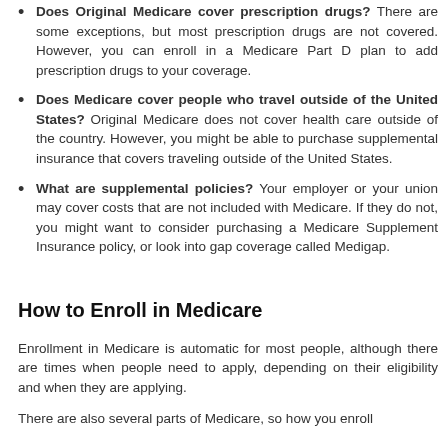Does Original Medicare cover prescription drugs? There are some exceptions, but most prescription drugs are not covered. However, you can enroll in a Medicare Part D plan to add prescription drugs to your coverage.
Does Medicare cover people who travel outside of the United States? Original Medicare does not cover health care outside of the country. However, you might be able to purchase supplemental insurance that covers traveling outside of the United States.
What are supplemental policies? Your employer or your union may cover costs that are not included with Medicare. If they do not, you might want to consider purchasing a Medicare Supplement Insurance policy, or look into gap coverage called Medigap.
How to Enroll in Medicare
Enrollment in Medicare is automatic for most people, although there are times when people need to apply, depending on their eligibility and when they are applying.
There are also several parts of Medicare, so how you enroll depends on which parts you are applying for.